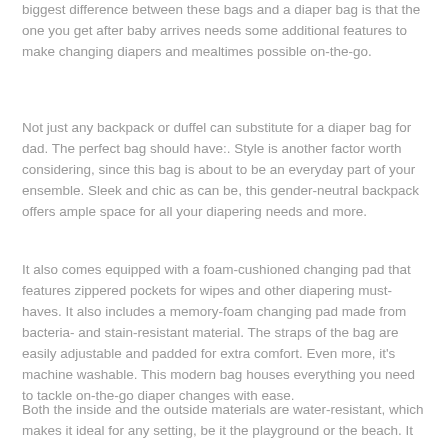biggest difference between these bags and a diaper bag is that the one you get after baby arrives needs some additional features to make changing diapers and mealtimes possible on-the-go.
Not just any backpack or duffel can substitute for a diaper bag for dad. The perfect bag should have:. Style is another factor worth considering, since this bag is about to be an everyday part of your ensemble. Sleek and chic as can be, this gender-neutral backpack offers ample space for all your diapering needs and more.
It also comes equipped with a foam-cushioned changing pad that features zippered pockets for wipes and other diapering must-haves. It also includes a memory-foam changing pad made from bacteria- and stain-resistant material. The straps of the bag are easily adjustable and padded for extra comfort. Even more, it's machine washable. This modern bag houses everything you need to tackle on-the-go diaper changes with ease.
Both the inside and the outside materials are water-resistant, which makes it ideal for any setting, be it the playground or the beach. It